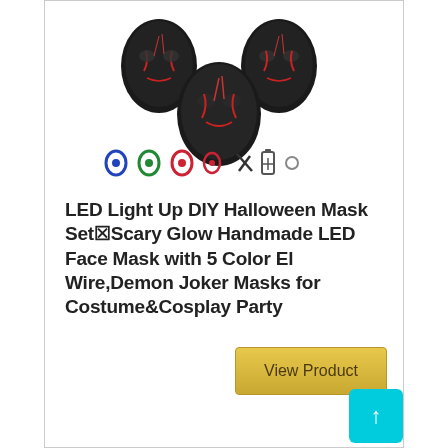[Figure (photo): Product image showing three black LED Halloween masks with red markings arranged in a triangle, and below them a row of small accessory items including colored wire spools and other components]
LED Light Up DIY Halloween Mask Set☒Scary Glow Handmade LED Face Mask with 5 Color El Wire,Demon Joker Masks for Costume&Cosplay Party